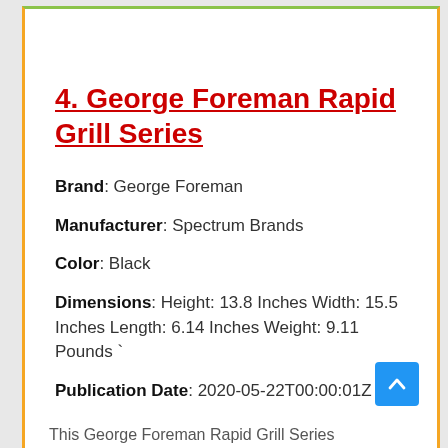4. George Foreman Rapid Grill Series
Brand: George Foreman
Manufacturer: Spectrum Brands
Color: Black
Dimensions: Height: 13.8 Inches Width: 15.5 Inches Length: 6.14 Inches Weight: 9.11 Pounds `
Publication Date: 2020-05-22T00:00:01Z
This George Foreman Rapid Grill Series